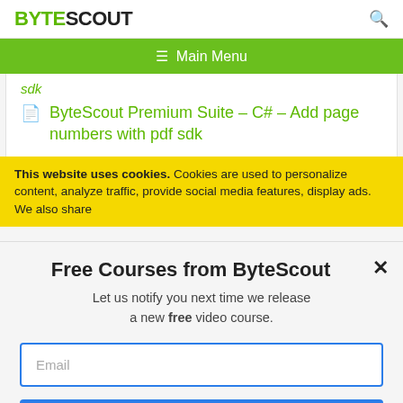BYTESCOUT
Main Menu
sdk
ByteScout Premium Suite – C# – Add page numbers with pdf sdk
This website uses cookies. Cookies are used to personalize content, analyze traffic, provide social media features, display ads. We also share
Free Courses from ByteScout
Let us notify you next time we release a new free video course.
Email
SUBSCRIBE